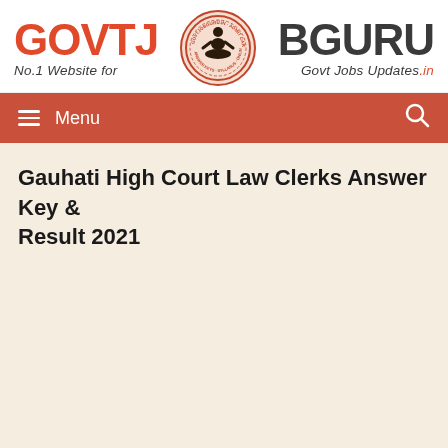[Figure (logo): GovtJobGuru website header logo with 'GOVTJ' in red/gray on left, circular emblem in center, and 'BGURU' in gray on right, with tagline 'No.1 Website for Govt Jobs Updates.in']
Menu
Gauhati High Court Law Clerks Answer Key & Result 2021